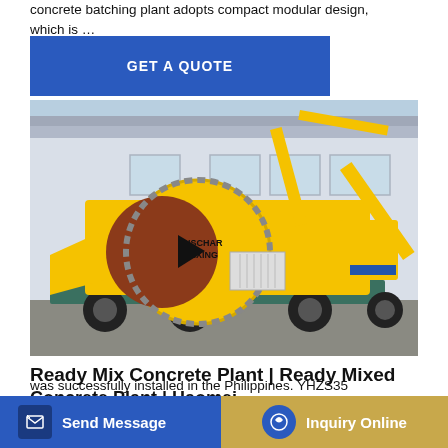concrete batching plant adopts compact modular design, which is …
[Figure (other): GET A QUOTE button (blue rectangle with white text)]
[Figure (photo): Yellow ready mix concrete plant / concrete mixer truck with discharge mixing drum, mounted on a wheeled trailer frame, photographed outdoors in front of a blue industrial building.]
Ready Mix Concrete Plant | Ready Mixed Concrete Plant | Haomei
was successfully installed in the Philippines. YHZS35
[Figure (other): Send Message button (blue) and Inquiry Online button (gold/tan) in bottom bar]